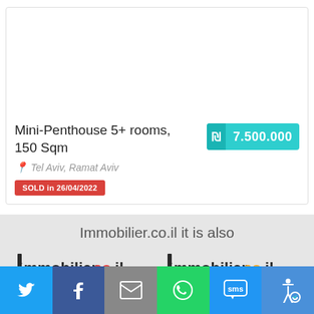[Figure (photo): Property listing card with white image placeholder area, property details, price badge, location and sold date.]
Mini-Penthouse 5+ rooms, 150 Sqm
7.500.000
Tel Aviv, Ramat Aviv
SOLD in 26/04/2022
Immobilier.co.il it is also
[Figure (logo): Immobilier.co.il Location logo]
[Figure (logo): Immobilier.co.il Le Portail logo]
[Figure (infographic): Social share bar with Twitter, Facebook, Email, WhatsApp, SMS, and Accessibility buttons]